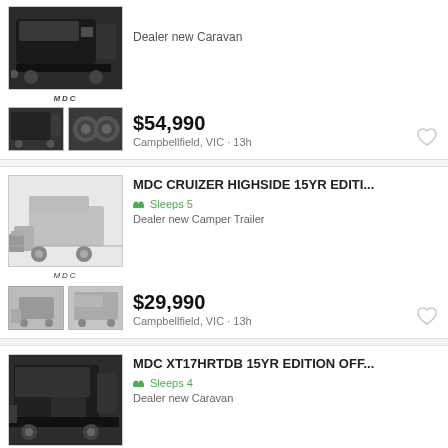Dealer new Caravan
$54,990
Campbellfield, VIC · 13h
MDC CRUIZER HIGHSIDE 15YR EDITI...
Sleeps 5
Dealer new Camper Trailer
$29,990
Campbellfield, VIC · 13h
MDC XT17HRTDB 15YR EDITION OFF...
Sleeps 4
Dealer new Caravan